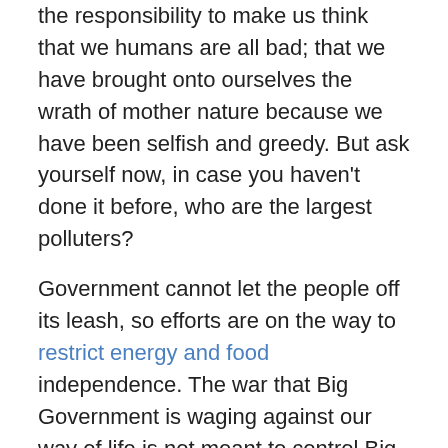the responsibility to make us think that we humans are all bad; that we have brought onto ourselves the wrath of mother nature because we have been selfish and greedy. But ask yourself now, in case you haven't done it before, who are the largest polluters?
Government cannot let the people off its leash, so efforts are on the way to restrict energy and food independence. The war that Big Government is waging against our way of life is not meant to control Big Business so it doesn't abuse consumers. Rather, it is to ensure that Big Business becomes the sole regulator and provider of everything any human being requires to stay alive. That is why it is common to hear bureaucrats speaking about savagely attacking oil and gas companies, locally managed water companies, independent farmers, 'prepers', those who choose to have a garden in their backyard, or even people